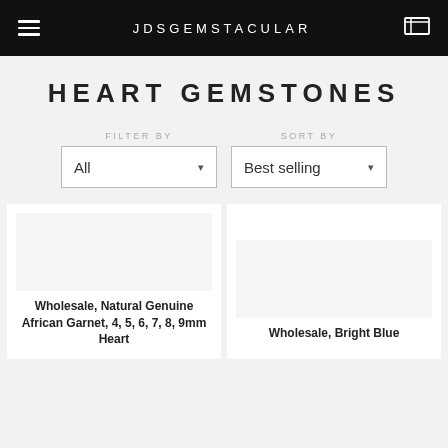JDSGEMSTACULAR
HEART GEMSTONES
FILTER BY
SORT BY
All
Best selling
Wholesale, Natural Genuine African Garnet, 4, 5, 6, 7, 8, 9mm Heart
Wholesale, Bright Blue